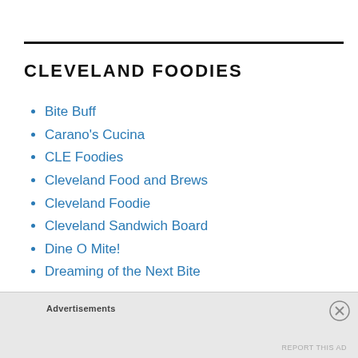CLEVELAND FOODIES
Bite Buff
Carano's Cucina
CLE Foodies
Cleveland Food and Brews
Cleveland Foodie
Cleveland Sandwich Board
Dine O Mite!
Dreaming of the Next Bite
Advertisements